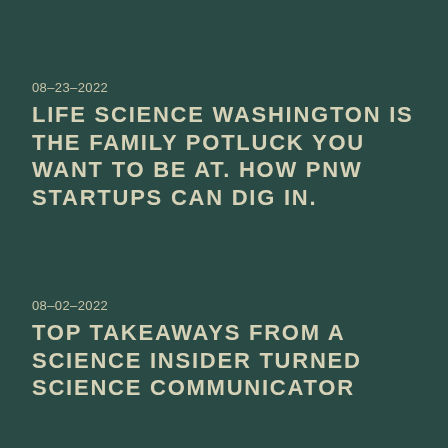08–23–2022
LIFE SCIENCE WASHINGTON IS THE FAMILY POTLUCK YOU WANT TO BE AT. HOW PNW STARTUPS CAN DIG IN.
08–02–2022
TOP TAKEAWAYS FROM A SCIENCE INSIDER TURNED SCIENCE COMMUNICATOR